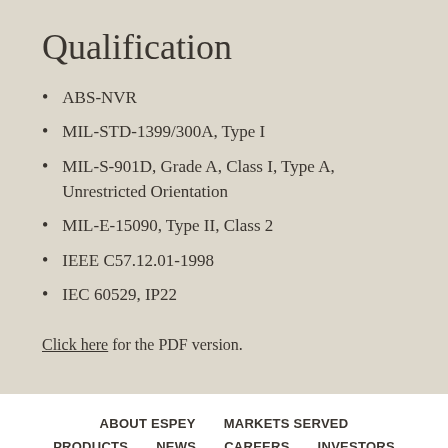Qualification
ABS-NVR
MIL-STD-1399/300A, Type I
MIL-S-901D, Grade A, Class I, Type A, Unrestricted Orientation
MIL-E-15090, Type II, Class 2
IEEE C57.12.01-1998
IEC 60529, IP22
Click here for the PDF version.
ABOUT ESPEY   MARKETS SERVED   PRODUCTS   NEWS   CAREERS   INVESTORS   CONTACT